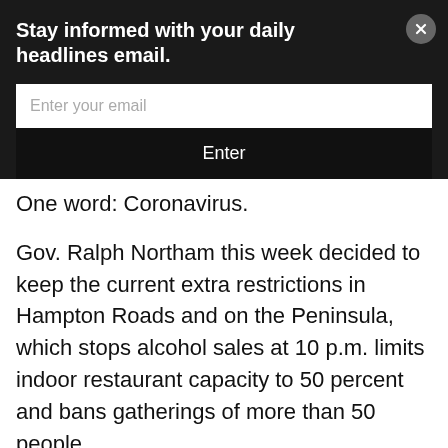Stay informed with your daily headlines email.
Enter your email
Enter
One word: Coronavirus.
Gov. Ralph Northam this week decided to keep the current extra restrictions in Hampton Roads and on the Peninsula, which stops alcohol sales at 10 p.m. limits indoor restaurant capacity to 50 percent and bans gatherings of more than 50 people.
The restrictions specifically apply to